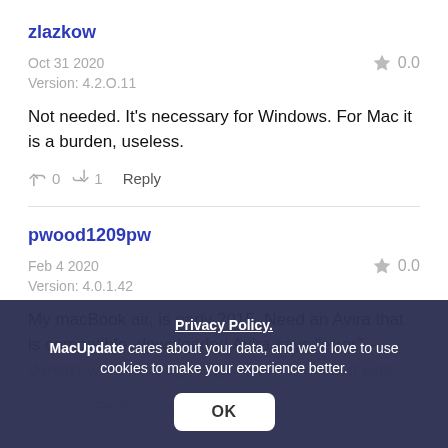zlazkow
Oct 31 2020    0.0
Version: 4.2.O.11
Not needed. It's necessary for Windows. For Mac it is a burden, useless.
👍 0  👎 1   Reply
pwood1209pw
Feb 4 2020    0.0
Version: 4.0.1.42
My macBook air, is early 2015. Need an Avira that is compatible. downloaded Avira says "error" – doesn't work although original screen said it was
Privacy Policy.
MacUpdate cares about your data, and we'd love to use cookies to make your experience better.
OK